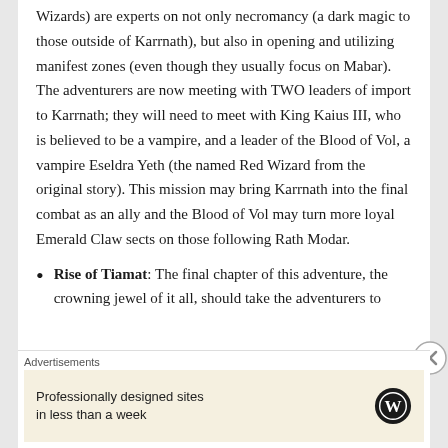Wizards) are experts on not only necromancy (a dark magic to those outside of Karrnath), but also in opening and utilizing manifest zones (even though they usually focus on Mabar). The adventurers are now meeting with TWO leaders of import to Karrnath; they will need to meet with King Kaius III, who is believed to be a vampire, and a leader of the Blood of Vol, a vampire Eseldra Yeth (the named Red Wizard from the original story). This mission may bring Karrnath into the final combat as an ally and the Blood of Vol may turn more loyal Emerald Claw sects on those following Rath Modar.
Rise of Tiamat: The final chapter of this adventure, the crowning jewel of it all, should take the adventurers to
Advertisements
Professionally designed sites in less than a week